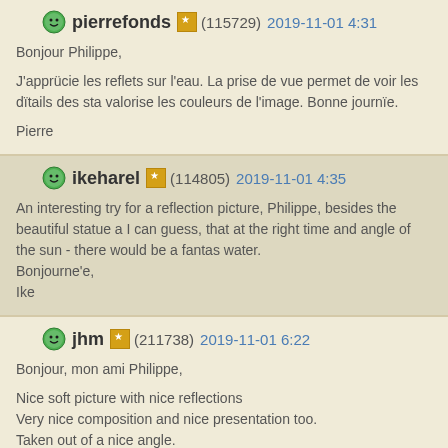pierrefonds (115729) 2019-11-01 4:31
Bonjour Philippe,

J'apprücie les reflets sur l'eau. La prise de vue permet de voir les dïtails des sta valorise les couleurs de l'image. Bonne journïe.

Pierre
ikeharel (114805) 2019-11-01 4:35
An interesting try for a reflection picture, Philippe, besides the beautiful statue a I can guess, that at the right time and angle of the sun - there would be a fantas water.
Bonjourne'e,
Ike
jhm (211738) 2019-11-01 6:22
Bonjour, mon ami Philippe,

Nice soft picture with nice reflections
Very nice composition and nice presentation too.
Taken out of a nice angle.